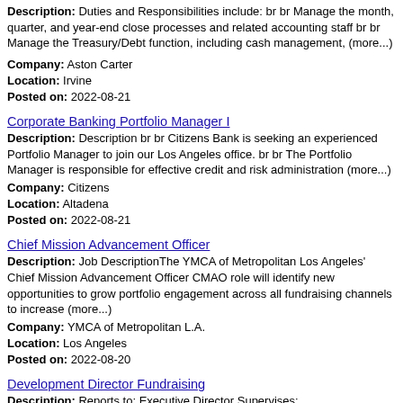Description: Duties and Responsibilities include: br br Manage the month, quarter, and year-end close processes and related accounting staff br br Manage the Treasury/Debt function, including cash management, (more...)
Company: Aston Carter
Location: Irvine
Posted on: 2022-08-21
Corporate Banking Portfolio Manager I
Description: Description br br Citizens Bank is seeking an experienced Portfolio Manager to join our Los Angeles office. br br The Portfolio Manager is responsible for effective credit and risk administration (more...)
Company: Citizens
Location: Altadena
Posted on: 2022-08-21
Chief Mission Advancement Officer
Description: Job DescriptionThe YMCA of Metropolitan Los Angeles' Chief Mission Advancement Officer CMAO role will identify new opportunities to grow portfolio engagement across all fundraising channels to increase (more...)
Company: YMCA of Metropolitan L.A.
Location: Los Angeles
Posted on: 2022-08-20
Development Director Fundraising
Description: Reports to: Executive Director Supervises: